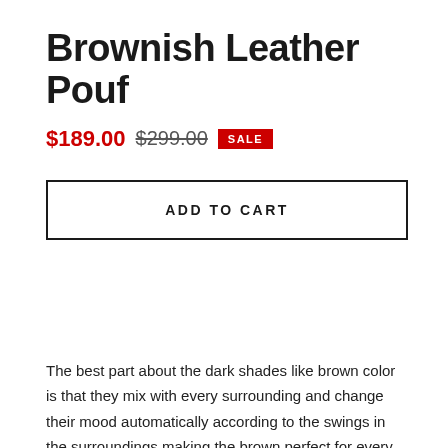Brownish Leather Pouf
$189.00  $299.00  SALE
ADD TO CART
The best part about the dark shades like brown color is that they mix with every surrounding and change their mood automatically according to the swings in the surroundings making the brown perfect for every occasion and for every purpose.
And next along this preference, you will never be confused about...